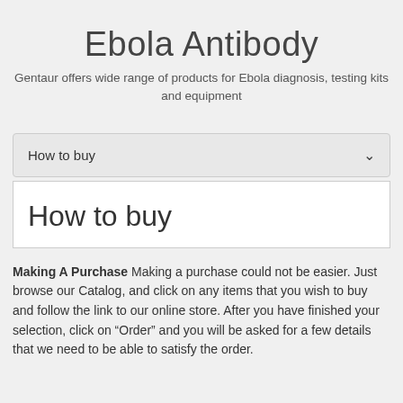Ebola Antibody
Gentaur offers wide range of products for Ebola diagnosis, testing kits and equipment
How to buy
How to buy
Making A Purchase Making a purchase could not be easier. Just browse our Catalog, and click on any items that you wish to buy and follow the link to our online store. After you have finished your selection, click on “Order” and you will be asked for a few details that we need to be able to satisfy the order.